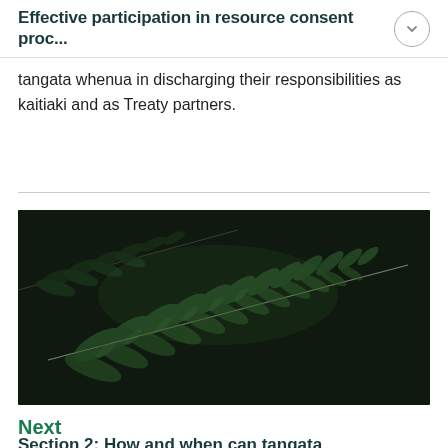Effective participation in resource consent proc...
tangata whenua in discharging their responsibilities as kaitiaki and as Treaty partners.
[Figure (photo): Close-up photograph of a dark green fern frond against a dark/black background, showing detailed frond structure and texture]
Next
Section 2: How and when can tangata